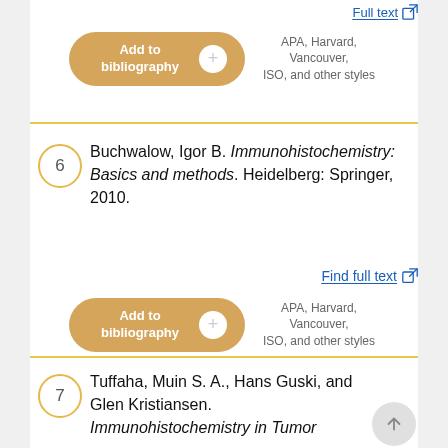Full text [external link]
Add to bibliography + APA, Harvard, Vancouver, ISO, and other styles
6  Buchwalow, Igor B. Immunohistochemistry: Basics and methods. Heidelberg: Springer, 2010.
Find full text [external link]
Add to bibliography + APA, Harvard, Vancouver, ISO, and other styles
7  Tuffaha, Muin S. A., Hans Guski, and Glen Kristiansen. Immunohistochemistry in Tumor